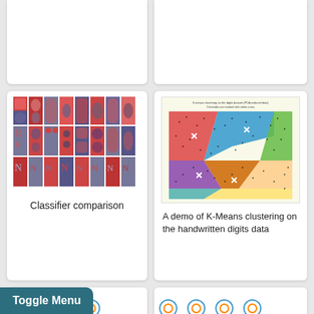[Figure (illustration): Partially visible card at top-left, white card with illustration cut off at top]
[Figure (illustration): Partially visible card at top-right, white card with illustration cut off at top]
[Figure (illustration): Classifier comparison: grid of colorful red/blue classification boundary images for various classifiers]
Classifier comparison
[Figure (scatter-plot): K-Means clustering on the digits dataset (PCA-reduced data). Colorful pie/voronoi regions with scattered black dots and white X centroids. Title: K-means clustering on the digits dataset (PCA-reduced data) Centroids are marked with white cross]
A demo of K-Means clustering on the handwritten digits data
[Figure (illustration): Bottom-left partially visible card: grid of circular/wave/scatter classifier comparison plots in blue and orange]
[Figure (illustration): Bottom-right partially visible card: grid of circular/wave/scatter classifier comparison plots in blue and orange, partial view]